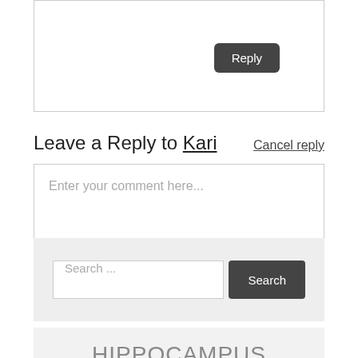Reply
Leave a Reply to Kari
Cancel reply
Enter your comment here...
Search ...
Search
HIPPOCAMPUS MAGAZINE